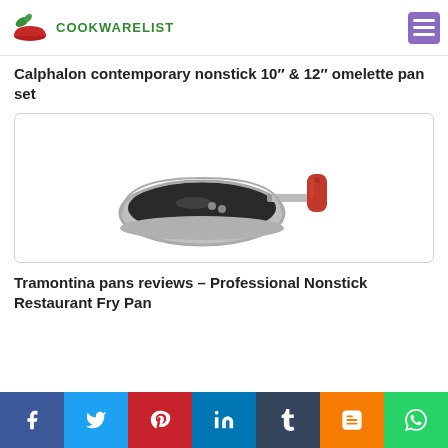COOKWARELIST
Calphalon contemporary nonstick 10″ & 12″ omelette pan set
[Figure (photo): A nonstick frying pan with silver body and red handle, viewed from above at an angle.]
Tramontina pans reviews – Professional Nonstick Restaurant Fry Pan
Social share bar: Facebook, Twitter, Pinterest, LinkedIn, Tumblr, Blogger, WhatsApp